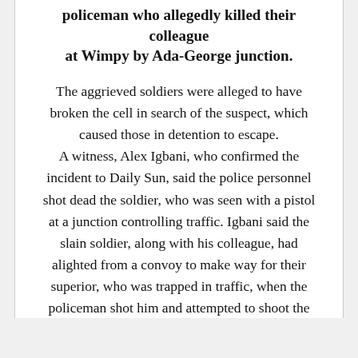policeman who allegedly killed their colleague at Wimpy by Ada-George junction.
The aggrieved soldiers were alleged to have broken the cell in search of the suspect, which caused those in detention to escape. A witness, Alex Igbani, who confirmed the incident to Daily Sun, said the police personnel shot dead the soldier, who was seen with a pistol at a junction controlling traffic. Igbani said the slain soldier, along with his colleague, had alighted from a convoy to make way for their superior, who was trapped in traffic, when the policeman shot him and attempted to shoot the second person before he brought out his identity card.